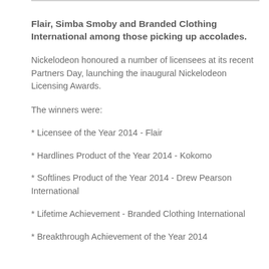Flair, Simba Smoby and Branded Clothing International among those picking up accolades.
Nickelodeon honoured a number of licensees at its recent Partners Day, launching the inaugural Nickelodeon Licensing Awards.
The winners were:
* Licensee of the Year 2014 - Flair
* Hardlines Product of the Year 2014 - Kokomo
* Softlines Product of the Year 2014 - Drew Pearson International
* Lifetime Achievement - Branded Clothing International
* Breakthrough Achievement of the Year 2014